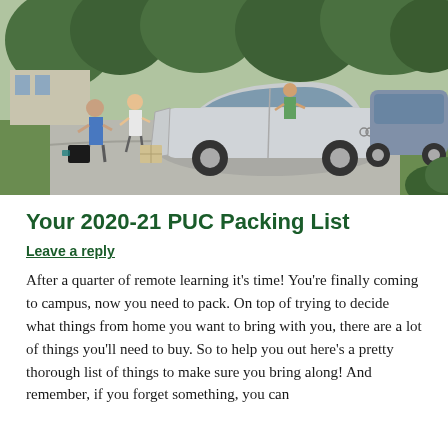[Figure (photo): Students unloading a silver Audi car in a campus driveway, with luggage and boxes, trees and greenery in the background.]
Your 2020-21 PUC Packing List
Leave a reply
After a quarter of remote learning it's time! You're finally coming to campus, now you need to pack. On top of trying to decide what things from home you want to bring with you, there are a lot of things you'll need to buy. So to help you out here's a pretty thorough list of things to make sure you bring along! And remember, if you forget something, you can